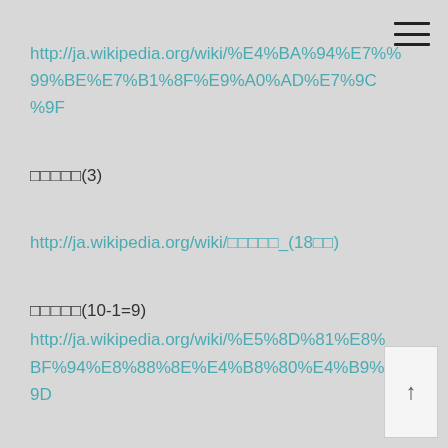http://ja.wikipedia.org/wiki/%E4%BA%94%E7%99%BE%E7%B1%8F%E9%A0%AD%E7%9C%9F
□□□□□(3)
http://ja.wikipedia.org/wiki/□□□□□_(18□□)
□□□□□(10-1=9)
http://ja.wikipedia.org/wiki/%E5%8D%81%E8%BF%94%E8%88%8E%E4%B8%80%E4%B9%9D